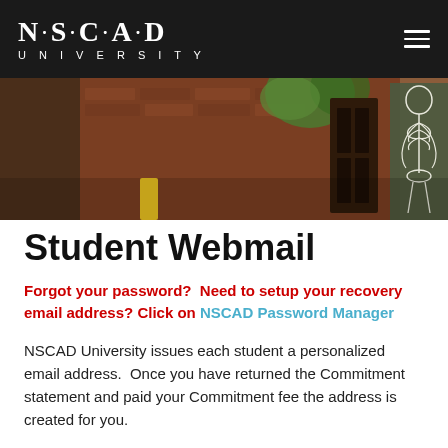NSCAD UNIVERSITY
[Figure (photo): A photograph of a brick-walled interior space with plants, wooden doors, and a skeleton illustration/painting on the right side.]
Student Webmail
Forgot your password?  Need to setup your recovery email address? Click on  NSCAD Password Manager
NSCAD University issues each student a personalized email address.  Once you have returned the Commitment statement and paid your Commitment fee the address is created for you.
We will email your credentials to the personal email